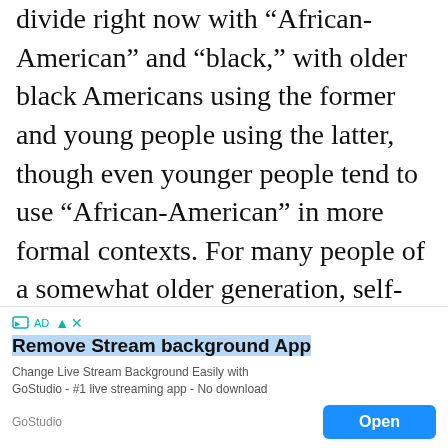divide right now with “African-American” and “black,” with older black Americans using the former and young people using the latter, though even younger people tend to use “African-American” in more formal contexts. For many people of a somewhat older generation, self-applying “African-American” while rejecting terms imposed by whites was an empowering way to reclaim one’s African roots after generations of de-Africanization in a racist culture. (Of
[Figure (other): Advertisement banner: Remove Stream background App - Change Live Stream Background Easily with GoStudio - #1 live streaming app - No download. Open button.]